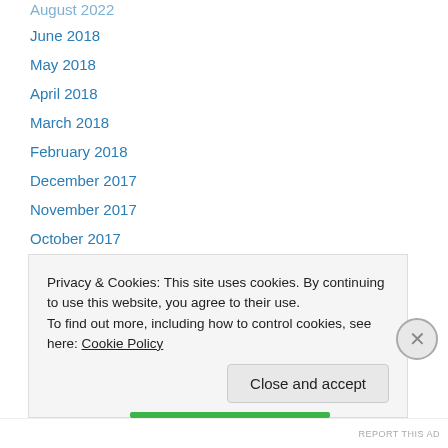June 2018
May 2018
April 2018
March 2018
February 2018
December 2017
November 2017
October 2017
September 2017
August 2017
July 2017
June 2017
May 2017
Privacy & Cookies: This site uses cookies. By continuing to use this website, you agree to their use.
To find out more, including how to control cookies, see here: Cookie Policy